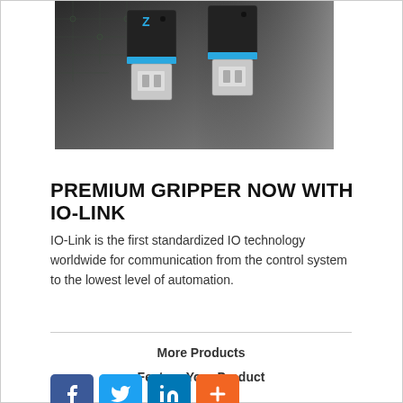[Figure (photo): Two black industrial gripper modules with blue accents and plug connectors, shown on a circuit board background]
PREMIUM GRIPPER NOW WITH IO-LINK
IO-Link is the first standardized IO technology worldwide for communication from the control system to the lowest level of automation.
More Products
Feature Your Product
[Figure (other): Social media icons: Facebook (blue), Twitter (blue), LinkedIn (blue), and a plus/share button (orange)]